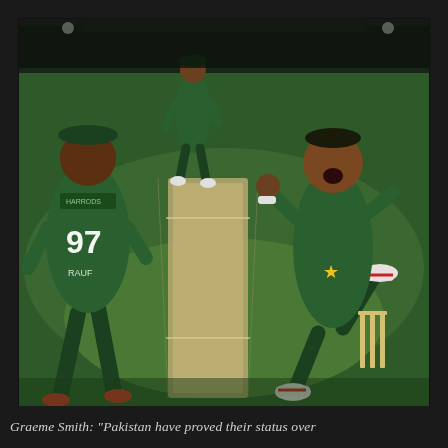[Figure (photo): Cricket match action photo showing Pakistani players in green jerseys celebrating. The main bowler is mid-air jumping in celebration on the right side. Player number 97 is seen from behind in the foreground on the left. A third player is visible in the background. Cricket stumps visible on the right. Night match under floodlights.]
Graeme Smith: "Pakistan have proved their status over